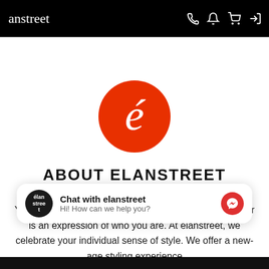anstreet
r tags, lookbooks & products...
[Figure (logo): Elanstreet circular red logo with white italic accented e letter]
ABOUT ELANSTREET
Your personal style is your own language-what you wear is an expression of who you are. At élanstreet, we celebrate your individual sense of style. We offer a new-age styling experience
Chat with elanstreet
Hi! How can we help you?